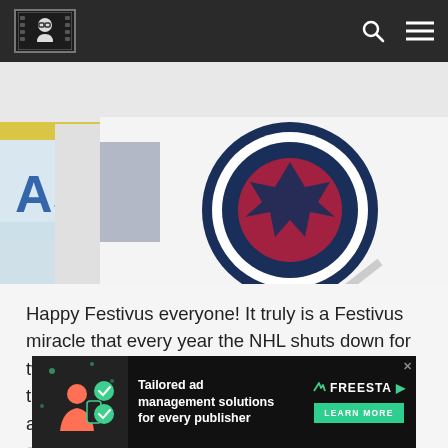Sports fantasy site header with logo and navigation icons
[Figure (photo): Close-up photo of a Winnipeg Jets NHL hockey player in white jersey with Jets logo, wearing CCM gloves, with 'AS' visible in background]
Happy Festivus everyone! It truly is a Festivus miracle that every year the NHL shuts down for two days around the holidays. It is the perfect time to gather your fantasy squad around the aluminum pole and take part in the airing of grievances. Here is an excerpt from
[Figure (screenshot): Advertisement banner: 'Tailored ad management solutions for every publisher' with FREESTA branding and LEARN MORE button]